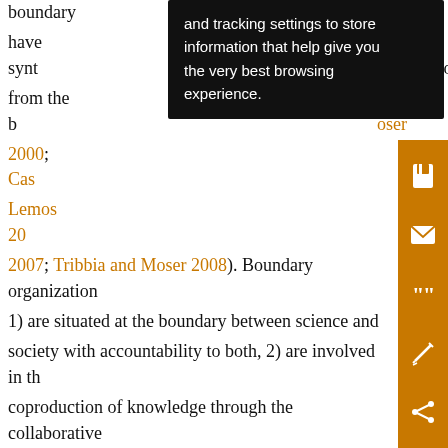boundary ... and tracking settings to store information that help give you the very best browsing experience. ... have synt ... ions from the b ... oser 2000; Cas ... nd Lemos 20 ... Nie 2007; Tribbia and Moser 2008). Boundary organization 1) are situated at the boundary between science and society with accountability to both, 2) are involved in the coproduction of knowledge through the collaborative participation of actors from both sides of the boundary and professionals from the organization who serve a mediating role, 3) support the creation and use of boundary objects (objects that can be used in different ways by different stakeholders for their own purposes to produce different types of knowledge), and 4) bridge multiple boundaries—first and foremost is that between science and society, but also potentially between
[Figure (other): Orange sidebar with save, email, cite, annotation, and share icons]